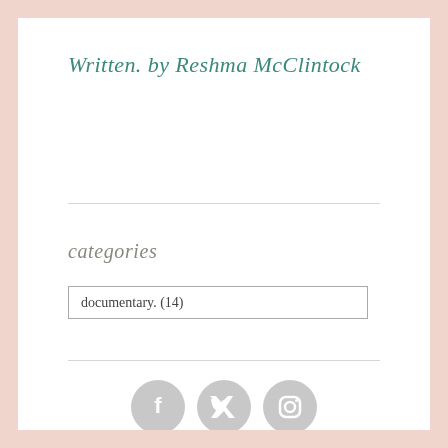Written. by Reshma McClintock
categories
documentary.  (14)
[Figure (other): Social media icons: Facebook, Twitter, Instagram circles in gray]
BLOG AT WORDPRESS.COM.